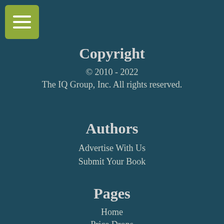[Figure (other): Green hamburger menu button with three white horizontal lines]
Copyright
© 2010 - 2022
The IQ Group, Inc. All rights reserved.
Authors
Advertise With Us
Submit Your Book
Pages
Home
Price Drops
Deals Under $1
Freebies